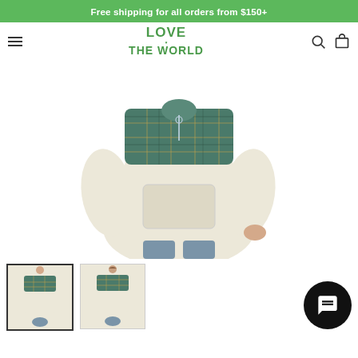Free shipping for all orders from $150+
[Figure (logo): Love The World brand logo in green with heart icon]
[Figure (photo): Woman wearing a cream sherpa fleece pullover with teal/green plaid upper yoke panel, shown from front]
[Figure (photo): Thumbnail: front view of cream and plaid sherpa pullover]
[Figure (photo): Thumbnail: back view of cream and plaid sherpa pullover]